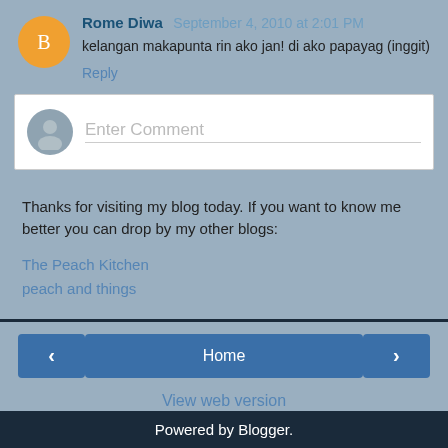Rome Diwa  September 4, 2010 at 2:01 PM
kelangan makapunta rin ako jan! di ako papayag (inggit)
Reply
Enter Comment
Thanks for visiting my blog today. If you want to know me better you can drop by my other blogs:
The Peach Kitchen
peach and things
Home
View web version
Powered by Blogger.